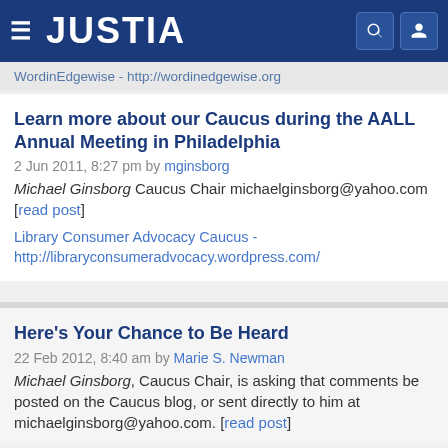JUSTIA
WordinEdgewise - http://wordinedgewise.org
Learn more about our Caucus during the AALL Annual Meeting in Philadelphia
2 Jun 2011, 8:27 pm by mginsborg
Michael Ginsborg Caucus Chair michaelginsborg@yahoo.com [read post]
Library Consumer Advocacy Caucus - http://libraryconsumeradvocacy.wordpress.com/
Here's Your Chance to Be Heard
22 Feb 2012, 8:40 am by Marie S. Newman
Michael Ginsborg, Caucus Chair, is asking that comments be posted on the Caucus blog, or sent directly to him at michaelginsborg@yahoo.com. [read post]